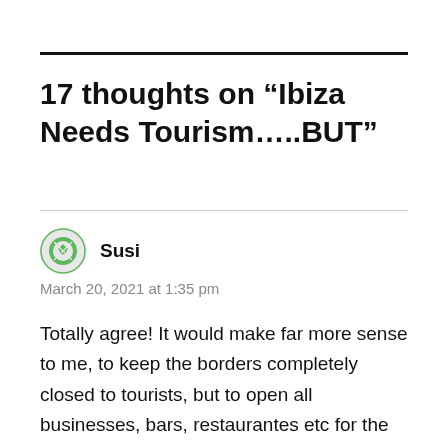17 thoughts on “Ibiza Needs Tourism…..BUT”
Susi
March 20, 2021 at 1:35 pm
Totally agree! It would make far more sense to me, to keep the borders completely closed to tourists, but to open all businesses, bars, restaurantes etc for the local population. It would enable more people to return to work and minimise the risks until such times as